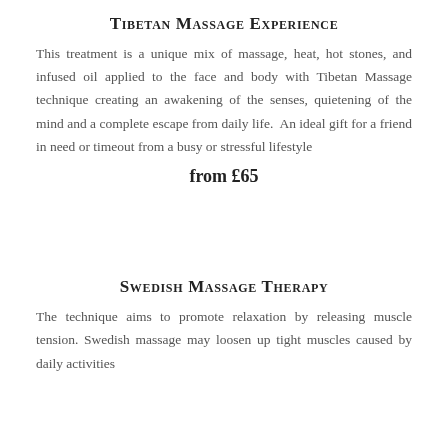Tibetan Massage Experience
This treatment is a unique mix of massage, heat, hot stones, and infused oil applied to the face and body with Tibetan Massage technique creating an awakening of the senses, quietening of the mind and a complete escape from daily life.  An ideal gift for a friend in need or timeout from a busy or stressful lifestyle
from £65
Swedish Massage Therapy
The technique aims to promote relaxation by releasing muscle tension. Swedish massage may loosen up tight muscles caused by daily activities